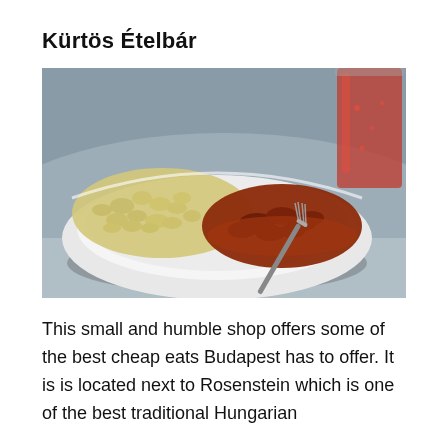Kürtös Ételbár
[Figure (photo): A white bowl containing Hungarian goulash with nokedli (small dumplings) and a fork resting in the dish, with a red drink in a glass visible in the background, set on a gray table.]
This small and humble shop offers some of the best cheap eats Budapest has to offer. It is is located next to Rosenstein which is one of the best traditional Hungarian